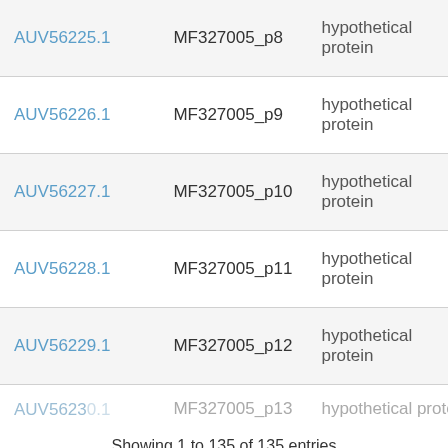| AUV56225.1 | MF327005_p8 | hypothetical protein |
| AUV56226.1 | MF327005_p9 | hypothetical protein |
| AUV56227.1 | MF327005_p10 | hypothetical protein |
| AUV56228.1 | MF327005_p11 | hypothetical protein |
| AUV56229.1 | MF327005_p12 | hypothetical protein |
| AUV5623_.1 | MF327005_p13 | hypothetical protein |
Showing 1 to 135 of 135 entries
[Figure (illustration): Dark purple/navy footer background with small white line-art illustrations of bacteriophages (viruses) in various orientations — one large phage on the right, and smaller ones on the left and center.]